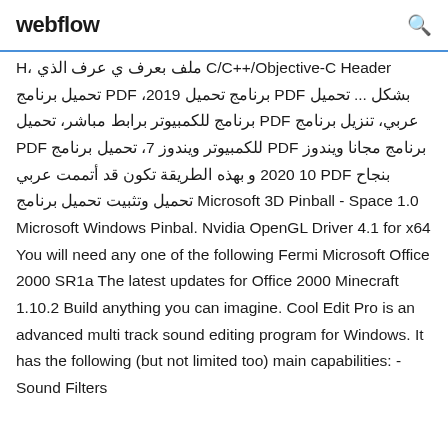webflow
H، ملف بعرف ي عرف الذي C/C++/Objective-C Header تحميل برنامج PDF ،2019 برنامج تحميل PDF بشكل ... تحميل برنامج للكمبيوتر برابط مباشر، تحميل PDF عربي، تنزيل برنامج PDF للكمبيوتر ويندوز 7، تحميل برنامج PDF برنامج مجانا ويندوز 10 2020 و بهذه الطريقة تكون قد أتممت عربي PDF بنجاح تحميل وتثبيت تحميل برنامج Microsoft 3D Pinball - Space 1.0 Microsoft Windows Pinbal. Nvidia OpenGL Driver 4.1 for x64 You will need any one of the following Fermi Microsoft Office 2000 SR1a The latest updates for Office 2000 Minecraft 1.10.2 Build anything you can imagine. Cool Edit Pro is an advanced multi track sound editing program for Windows. It has the following (but not limited too) main capabilities: - Sound Filters